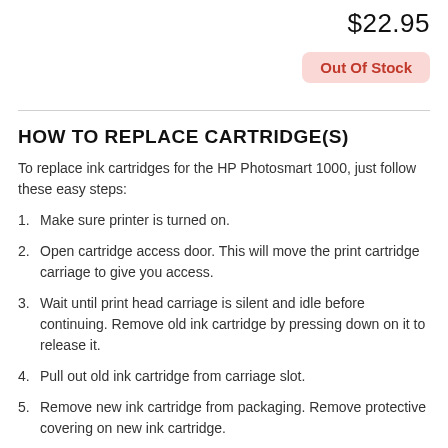$22.95
Out Of Stock
HOW TO REPLACE CARTRIDGE(S)
To replace ink cartridges for the HP Photosmart 1000, just follow these easy steps:
Make sure printer is turned on.
Open cartridge access door. This will move the print cartridge carriage to give you access.
Wait until print head carriage is silent and idle before continuing. Remove old ink cartridge by pressing down on it to release it.
Pull out old ink cartridge from carriage slot.
Remove new ink cartridge from packaging. Remove protective covering on new ink cartridge.